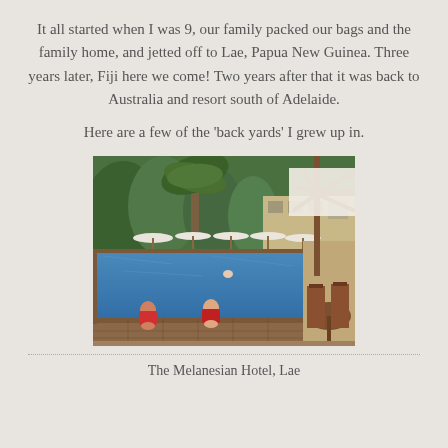It all started when I was 9, our family packed our bags and the family home, and jetted off to Lae, Papua New Guinea. Three years later, Fiji here we come! Two years after that it was back to Australia and resort south of Adelaide.
Here are a few of the ‘back yards’ I grew up in.
[Figure (photo): Outdoor swimming pool at the Melanesian Hotel in Lae, Papua New Guinea. Two women in red swimsuits sit on the pool edge in the foreground, with a large umbrella overhead, tables and chairs to the right, more umbrellas and lush tropical vegetation in the background.]
The Melanesian Hotel, Lae